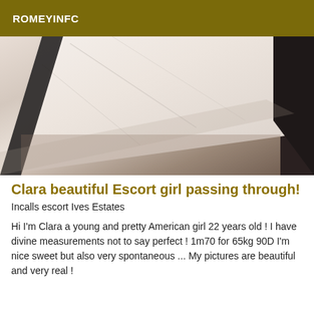ROMEYINFC
[Figure (photo): Close-up photo of a white pillow or cushion on a dark surface, likely a bed or couch]
Clara beautiful Escort girl passing through!
Incalls escort Ives Estates
Hi I'm Clara a young and pretty American girl 22 years old ! I have divine measurements not to say perfect ! 1m70 for 65kg 90D I'm nice sweet but also very spontaneous ... My pictures are beautiful and very real !